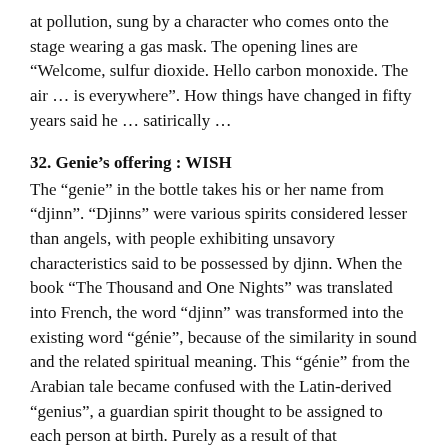at pollution, sung by a character who comes onto the stage wearing a gas mask. The opening lines are “Welcome, sulfur dioxide. Hello carbon monoxide. The air … is everywhere”. How things have changed in fifty years said he … satirically …
32. Genie’s offering : WISH
The “genie” in the bottle takes his or her name from “djinn”. “Djinns” were various spirits considered lesser than angels, with people exhibiting unsavory characteristics said to be possessed by djinn. When the book “The Thousand and One Nights” was translated into French, the word “djinn” was transformed into the existing word “génie”, because of the similarity in sound and the related spiritual meaning. This “génie” from the Arabian tale became confused with the Latin-derived “genius”, a guardian spirit thought to be assigned to each person at birth. Purely as a result of that mistranslation the word genie has come to mean the “djinn” that pops out of the bottle. A little hard to follow, I know, but still